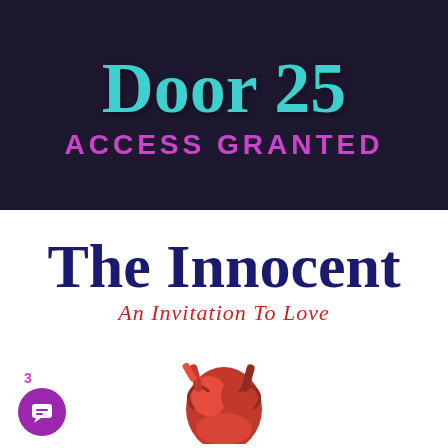Door 25
ACCESS GRANTED
The Innocent
An Invitation To Love
[Figure (illustration): Purple circular chat/message icon with badge number 3]
[Figure (illustration): Partial view of a red anatomical heart illustration at bottom center]